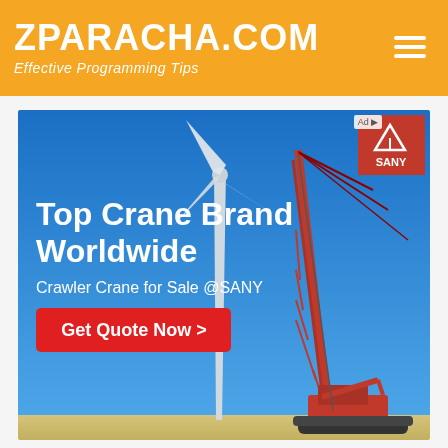ZPARACHA.COM
Effective Programming Tips
[Figure (illustration): Advertisement for SANY crane brand. Blue sky background with a white wind turbine and a large red crawler crane. Text reads: 'Top Crane Brand Worldwide', 'Crawler Crane for Sale @SANY', red button 'Get Quote Now >', SANY logo in top right corner.]